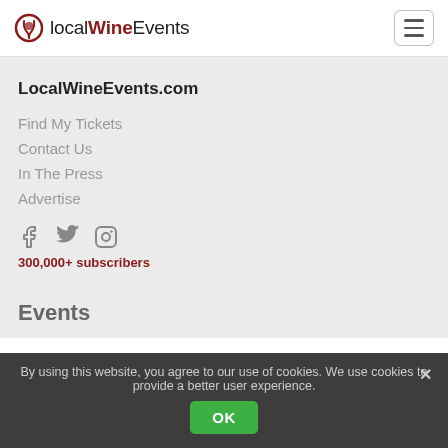[Figure (logo): localWineEvents logo with wine glass icon and text 'localWineEvents']
LocalWineEvents.com
Find My Tickets
Contact Us
In The Press
Advertise
[Figure (illustration): Social media icons: Facebook, Twitter, Instagram]
300,000+ subscribers
Events
By using this website, you agree to our use of cookies. We use cookies to provide a better user experience.